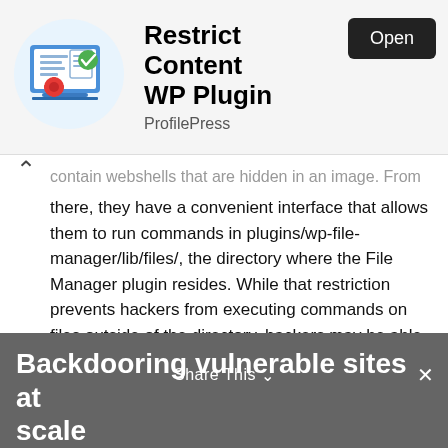[Figure (screenshot): App store banner showing 'Restrict Content WP Plugin' by ProfilePress with an Open button and an icon of a laptop with document and settings]
contain webshells that are hidden in an image. From there, they have a convenient interface that allows them to run commands in plugins/wp-file-manager/lib/files/, the directory where the File Manager plugin resides. While that restriction prevents hackers from executing commands on files outside of the directory, hackers may be able to exact more damage by uploading scripts that can carry out actions on other parts of a vulnerable site.
NinTechNet, a website security firm in Bangkok, Thailand, was among the first to report the in-the-wild attacks. The post said that a hacker was exploiting the vulnerability to upload a script titled hardfork.php and then using it to inject code into the WordPress scripts /wp-admin/admin-ajax.php and /wp-includes/user.php.
Backdooring vulnerable sites at scale